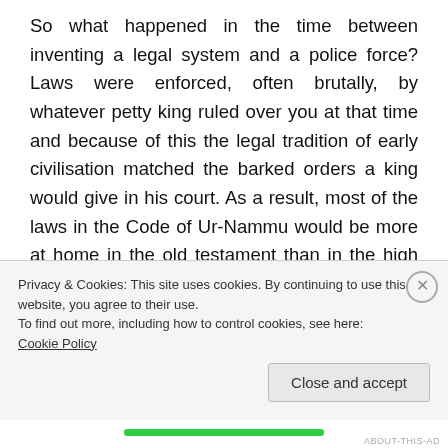So what happened in the time between inventing a legal system and a police force? Laws were enforced, often brutally, by whatever petty king ruled over you at that time and because of this the legal tradition of early civilisation matched the barked orders a king would give in his court. As a result, most of the laws in the Code of Ur-Nammu would be more at home in the old testament than in the high court; crimes like theft and murder are swiftly dealt with via execution; punishments are dealt out for
Privacy & Cookies: This site uses cookies. By continuing to use this website, you agree to their use.
To find out more, including how to control cookies, see here: Cookie Policy
Close and accept